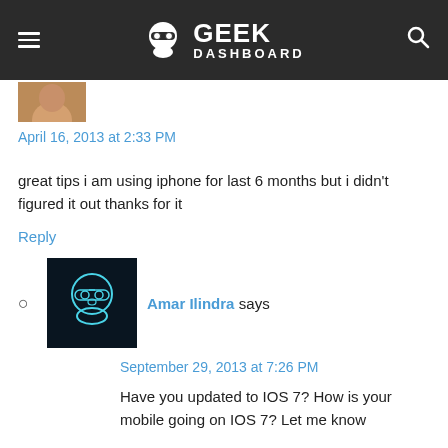≡ GEEK DASHBOARD 🔍
[Figure (photo): Small partial user avatar image at top left of comment section]
April 16, 2013 at 2:33 PM
great tips i am using iphone for last 6 months but i didn't figured it out thanks for it
Reply
Amar Ilindra says
[Figure (photo): Geek Dashboard logo avatar – dark background with glowing skull wearing glasses]
September 29, 2013 at 7:26 PM
Have you updated to IOS 7? How is your mobile going on IOS 7? Let me know
Reply
2. Jafar Dhada says
[Figure (photo): Partial user avatar photo of a young man]